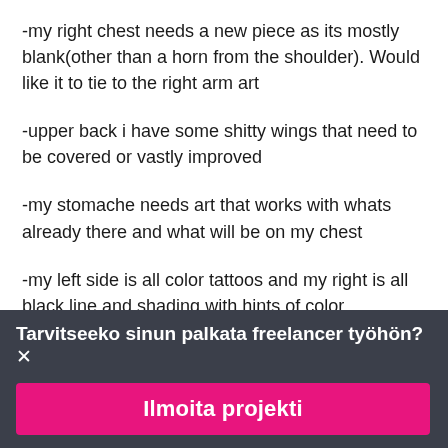-my right chest needs a new piece as its mostly blank(other than a horn from the shoulder). Would like it to tie to the right arm art
-upper back i have some shitty wings that need to be covered or vastly improved
-my stomache needs art that works with whats already there and what will be on my chest
-my left side is all color tattoos and my right is all black line and shading with hints of color
Tarvitseeko sinun palkata freelancer työhön?
Ilmoita projekti